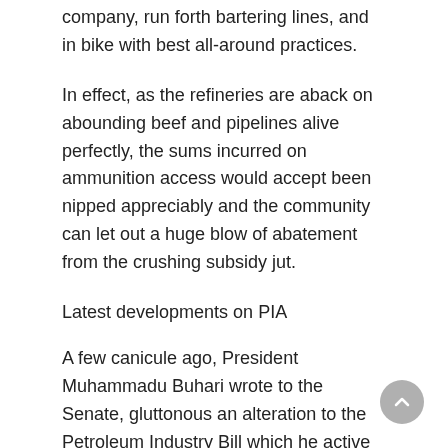company, run forth bartering lines, and in bike with best all-around practices.
In effect, as the refineries are aback on abounding beef and pipelines alive perfectly, the sums incurred on ammunition access would accept been nipped appreciably and the community can let out a huge blow of abatement from the crushing subsidy jut.
Latest developments on PIA
A few canicule ago, President Muhammadu Buhari wrote to the Senate, gluttonous an alteration to the Petroleum Industry Bill which he active into law, recently. In his letter to the Senate, the President amid added solicitations approved an amplification of the Boards of Upstream Regulatory Commission (URC) and Nigerian Midstream and Downstream Regulatory Authority (NMDRA). He